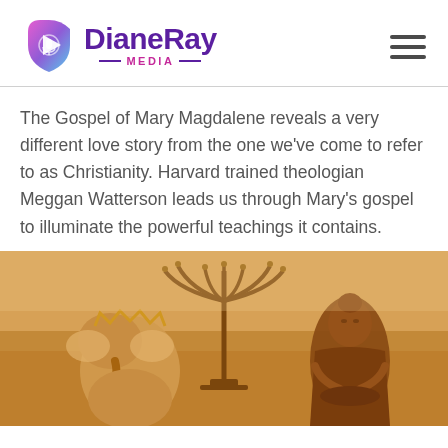[Figure (logo): DianeRay Media logo with colorful play-button icon and purple/pink text]
The Gospel of Mary Magdalene reveals a very different love story from the one we've come to refer to as Christianity. Harvard trained theologian Meggan Watterson leads us through Mary's gospel to illuminate the powerful teachings it contains.
[Figure (photo): Religious figurines including a Ganesha statue on the left, a menorah/candelabra in the center background, and a Buddha statue on the right, photographed in warm golden/sepia tones]